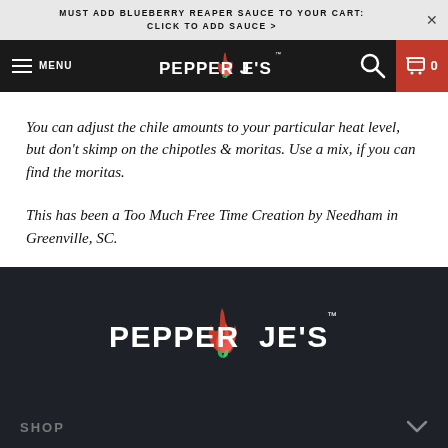MUST ADD BLUEBERRY REAPER SAUCE TO YOUR CART: CLICK TO ADD SAUCE >
[Figure (logo): Pepper Joe's logo in navigation bar - white text with flame graphic on dark background]
You can adjust the chile amounts to your particular heat level, but don't skimp on the chipotles & moritas. Use a mix, if you can find the moritas.
This has been a Too Much Free Time Creation by Needham in Greenville, SC.
[Figure (logo): Pepper Joe's logo in footer - white bold text with red flame and green pepper graphic on dark background]
SHOP